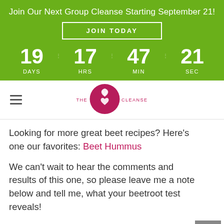Join Our Next Group Cleanse Starting September 21!
JOIN TODAY
19 DAYS  17 HRS  47 MIN  21 SEC
[Figure (logo): The Conscious Cleanse logo: crimson circle with white leaf and heart icon, text THE CONSCIOUS CLEANSE]
Looking for more great beet recipes? Here’s one our favorites: Beet Hummus
We can’t wait to hear the comments and results of this one, so please leave me a note below and tell me, what your beetroot test reveals!
With love and beet goodness,